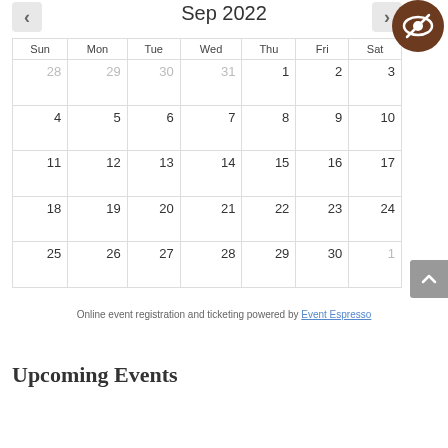Sep 2022
| Sun | Mon | Tue | Wed | Thu | Fri | Sat |
| --- | --- | --- | --- | --- | --- | --- |
| 28 | 29 | 30 | 31 | 1 | 2 | 3 |
| 4 | 5 | 6 | 7 | 8 | 9 | 10 |
| 11 | 12 | 13 | 14 | 15 | 16 | 17 |
| 18 | 19 | 20 | 21 | 22 | 23 | 24 |
| 25 | 26 | 27 | 28 | 29 | 30 | 1 |
Online event registration and ticketing powered by Event Espresso
Upcoming Events